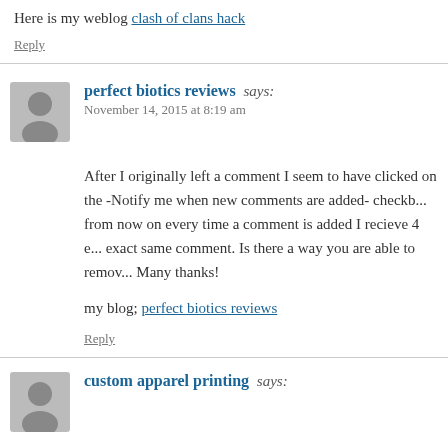Here is my weblog clash of clans hack
Reply
perfect biotics reviews says:
November 14, 2015 at 8:19 am
After I originally left a comment I seem to have clicked on the -Notify me when new comments are added- checkb... from now on every time a comment is added I recieve 4 e... exact same comment. Is there a way you are able to remov... Many thanks!
my blog; perfect biotics reviews
Reply
custom apparel printing says: